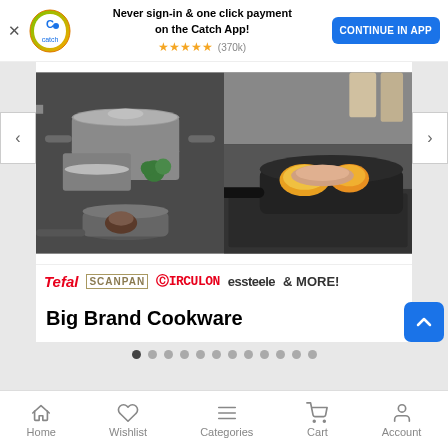[Figure (screenshot): App banner with Catch logo, 'Never sign-in & one click payment on the Catch App!' text, star rating (370k), and CONTINUE IN APP button]
[Figure (photo): Two cookware product photos side by side: left shows stainless steel pots and pan set, right shows non-stick frying pan with food on induction hob]
Tefal SCANPAN CIRCULON essteele & MORE!
Big Brand Cookware
[Figure (infographic): Carousel pagination dots, 12 dots total, first dot active/dark]
Home  Wishlist  Categories  Cart  Account